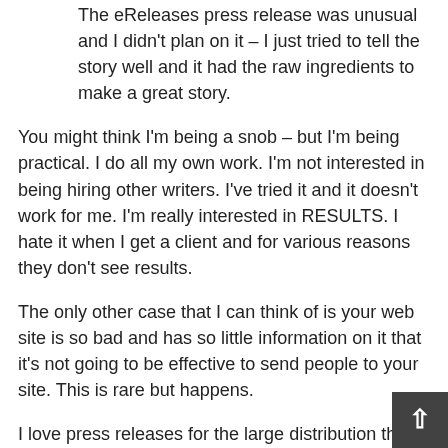The eReleases press release was unusual and I didn't plan on it – I just tried to tell the story well and it had the raw ingredients to make a great story.
You might think I'm being a snob – but I'm being practical. I do all my own work. I'm not interested in being hiring other writers. I've tried it and it doesn't work for me. I'm really interested in RESULTS. I hate it when I get a client and for various reasons they don't see results.
The only other case that I can think of is your web site is so bad and has so little information on it that it's not going to be effective to send people to your site. This is rare but happens.
I love press releases for the large distribution they can give far beyond what most people can get on their own blog or networks (you might be able to reach hundreds of people, press releases and their distribution…